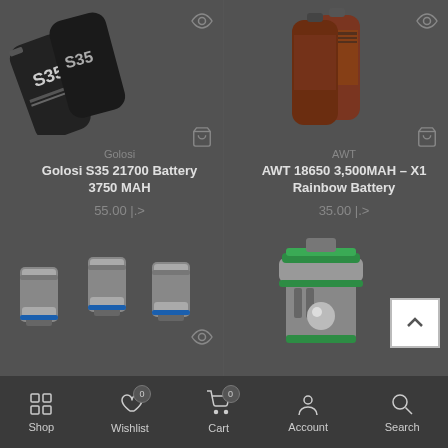[Figure (photo): Product listing for Golosi S35 21700 Battery 3750 MAH - showing battery cylinders]
Golosi
Golosi S35 21700 Battery 3750 MAH
55.00 |.>
[Figure (photo): Product listing for AWT 18650 3,500MAH - X1 Rainbow Battery]
AWT
AWT 18650 3,500MAH - X1 Rainbow Battery
35.00 |.>
[Figure (photo): Three coil heads with blue accent rings]
[Figure (photo): Vape tank/atomizer with green accent rings]
Shop
Wishlist
Cart
Account
Search